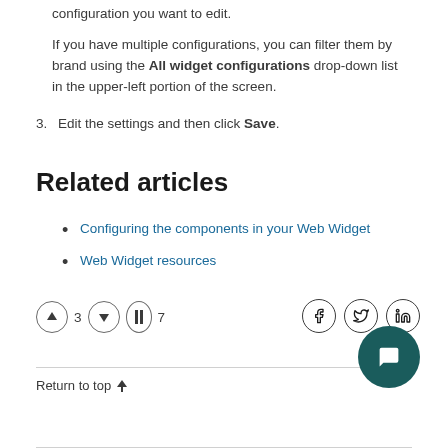configuration you want to edit.
If you have multiple configurations, you can filter them by brand using the All widget configurations drop-down list in the upper-left portion of the screen.
3. Edit the settings and then click Save.
Related articles
Configuring the components in your Web Widget
Web Widget resources
↑ 3  ↓  | 7
Return to top ↑